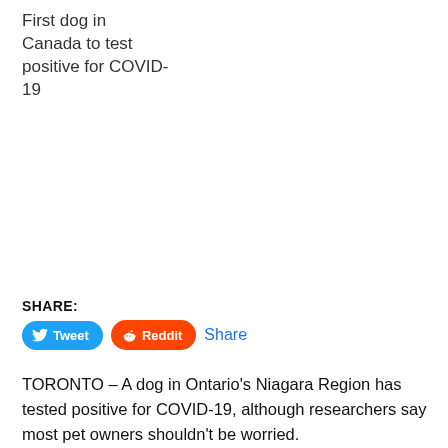First dog in Canada to test positive for COVID-19
[Figure (infographic): Social share buttons: Tweet (Twitter, blue), Reddit (orange), and a Share link in blue text]
TORONTO – A dog in Ontario's Niagara Region has tested positive for COVID-19, although researchers say most pet owners shouldn't be worried.